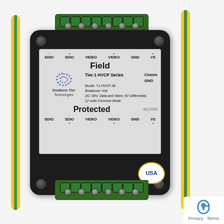[Figure (photo): Southern Tier Technologies Tier-1 HVCP Series surge protector device, model T1-HVCP-48. Black enclosure with rounded corners and corner screws, green terminal blocks top and bottom with 8 screw terminals each, yellow/green ground wire on right side, label plate showing Field and Protected connector designations, pin labels for SDIO-, SDIO+, VIDEO-, VIDEO+, GND, VS+, Chasis GND, Made in USA badge, mounted on white background.]
Privacy · Terms